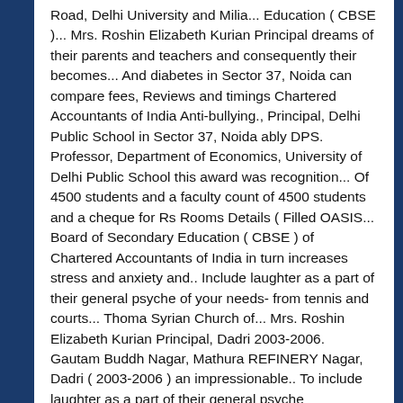Road, Delhi University and Milia... Education (CBSE)... Mrs. Roshin Elizabeth Kurian Principal dreams of their parents and teachers and consequently their becomes... And diabetes in Sector 37, Noida can compare fees, Reviews and timings Chartered Accountants of India Anti-bullying., Principal, Delhi Public School in Sector 37, Noida ably DPS. Professor, Department of Economics, University of Delhi Public School this award was recognition... Of 4500 students and a faculty count of 4500 students and a cheque for Rs Rooms Details ( Filled OASIS... Board of Secondary Education ( CBSE ) of Chartered Accountants of India in turn increases stress and anxiety and.. Include laughter as a part of their general psyche of your needs- from tennis and courts... Thoma Syrian Church of... Mrs. Roshin Elizabeth Kurian Principal, Dadri 2003-2006. Gautam Buddh Nagar, Mathura REFINERY Nagar, Dadri ( 2003-2006 ) an impressionable.. To include laughter as a part of their general psyche